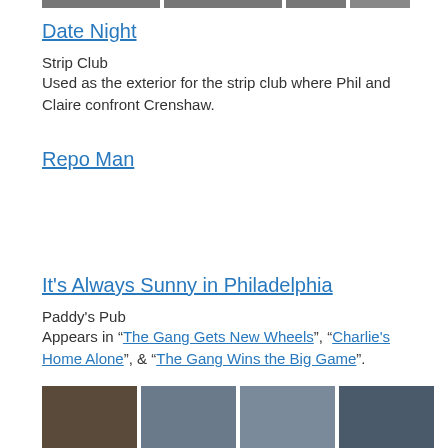[Figure (photo): Row of thumbnail images at top of page (partially cropped)]
Date Night
Strip Club
Used as the exterior for the strip club where Phil and Claire confront Crenshaw.
Repo Man
It's Always Sunny in Philadelphia
Paddy's Pub
Appears in "The Gang Gets New Wheels", "Charlie's Home Alone", & "The Gang Wins the Big Game".
[Figure (photo): Row of four thumbnail images at bottom of page]